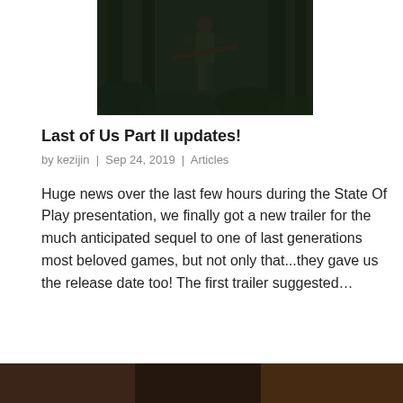[Figure (photo): Dark forest scene with a person holding a rifle/long gun, standing among tall trees with ferns in the background — a screenshot or promotional image from The Last of Us Part II]
Last of Us Part II updates!
by kezijin | Sep 24, 2019 | Articles
Huge news over the last few hours during the State Of Play presentation, we finally got a new trailer for the much anticipated sequel to one of last generations most beloved games, but not only that...they gave us the release date too! The first trailer suggested…
[Figure (photo): Partial bottom image, appears to be another game screenshot, partially cut off]